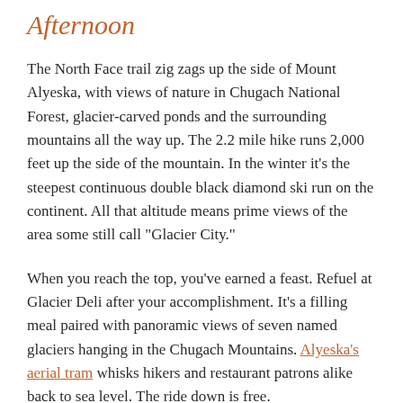Afternoon
The North Face trail zig zags up the side of Mount Alyeska, with views of nature in Chugach National Forest, glacier-carved ponds and the surrounding mountains all the way up. The 2.2 mile hike runs 2,000 feet up the side of the mountain. In the winter it's the steepest continuous double black diamond ski run on the continent. All that altitude means prime views of the area some still call "Glacier City."
When you reach the top, you've earned a feast. Refuel at Glacier Deli after your accomplishment. It's a filling meal paired with panoramic views of seven named glaciers hanging in the Chugach Mountains. Alyeska's aerial tram whisks hikers and restaurant patrons alike back to sea level. The ride down is free.